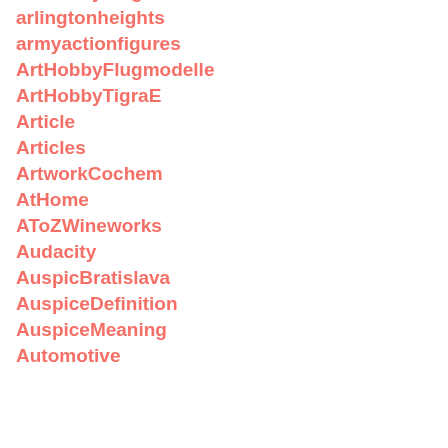ArtHobbyFlugmodelle
arlingtonheights
armyactionfigures
ArtHobbyFlugmodelle
ArtHobbyTigraE
Article
Articles
ArtworkCochem
AtHome
AToZWineworks
Audacity
AuspicBratislava
AuspiceDefinition
AuspiceMeaning
Automotive